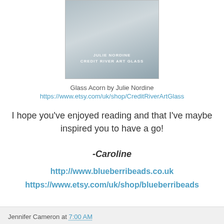[Figure (photo): Photo of a glass acorn by Julie Nordine, Credit River Art Glass. Grey/silver tones with text overlay.]
Glass Acorn by Julie Nordine
https://www.etsy.com/uk/shop/CreditRiverArtGlass
I hope you've enjoyed reading and that I've maybe inspired you to have a go!
-Caroline
http://www.blueberribeads.co.uk
https://www.etsy.com/uk/shop/blueberribeads
Jennifer Cameron at 7:00 AM